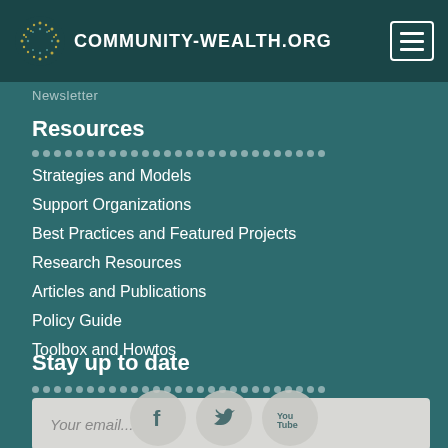COMMUNITY-WEALTH.ORG
Newsletter
Resources
Strategies and Models
Support Organizations
Best Practices and Featured Projects
Research Resources
Articles and Publications
Policy Guide
Toolbox and Howtos
Stay up to date
Your email...
[Figure (logo): Facebook, Twitter, YouTube social media icons at bottom of page]